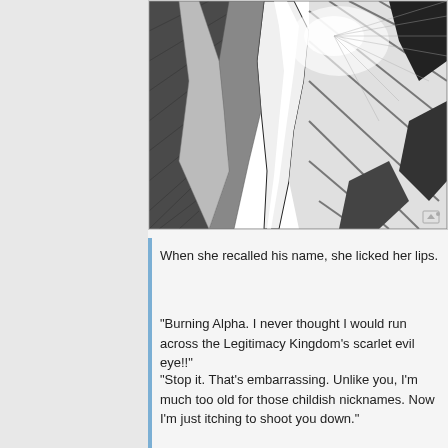[Figure (illustration): Black and white manga-style illustration showing dynamic action scene with characters in close-up, heavy use of speed lines and dramatic angles, grayscale tones.]
When she recalled his name, she licked her lips.
“Burning Alpha. I never thought I would run across the Legitimacy Kingdom’s scarlet evil eye!!”
“Stop it. That’s embarrassing. Unlike you, I’m much too old for those childish nicknames. Now I’m just itching to shoot you down.”